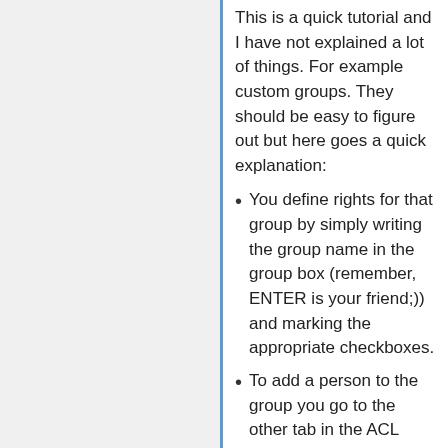This is a quick tutorial and I have not explained a lot of things. For example custom groups. They should be easy to figure out but here goes a quick explanation:
You define rights for that group by simply writing the group name in the group box (remember, ENTER is your friend;)) and marking the appropriate checkboxes.
To add a person to the group you go to the other tab in the ACL editor, select the group name in the group box (or write it+enter), write the name you want to add in the box at the botton of the added list and press the corresponding add button.